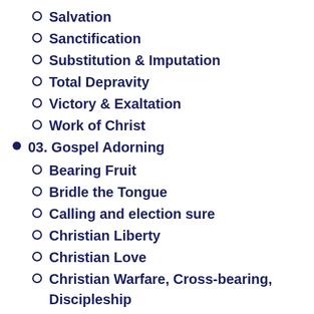Salvation
Sanctification
Substitution & Imputation
Total Depravity
Victory & Exaltation
Work of Christ
03. Gospel Adorning
Bearing Fruit
Bridle the Tongue
Calling and election sure
Christian Liberty
Christian Love
Christian Warfare, Cross-bearing, Discipleship